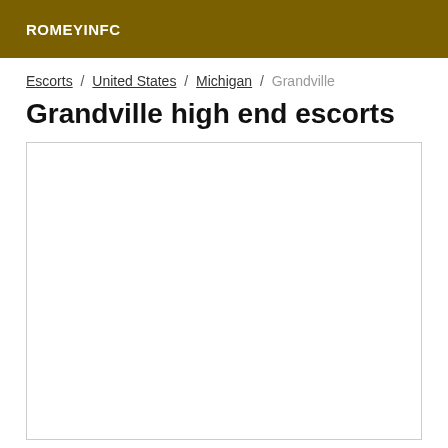ROMEYINFC
Escorts / United States / Michigan / Grandville
Grandville high end escorts
[Figure (other): Empty white content box with border]